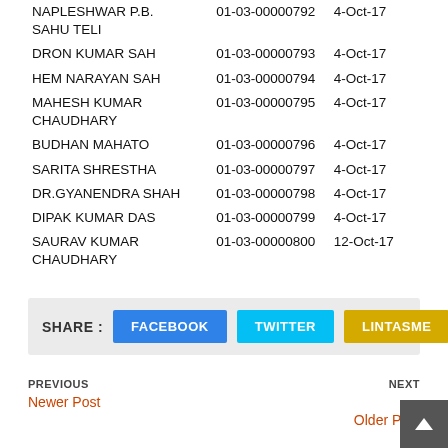| Name | ID | Date |
| --- | --- | --- |
| NAPLESHWAR P.B. SAHU TELI | 01-03-00000792 | 4-Oct-17 |
| DRON KUMAR SAH | 01-03-00000793 | 4-Oct-17 |
| HEM NARAYAN SAH | 01-03-00000794 | 4-Oct-17 |
| MAHESH KUMAR CHAUDHARY | 01-03-00000795 | 4-Oct-17 |
| BUDHAN MAHATO | 01-03-00000796 | 4-Oct-17 |
| SARITA SHRESTHA | 01-03-00000797 | 4-Oct-17 |
| DR.GYANENDRA SHAH | 01-03-00000798 | 4-Oct-17 |
| DIPAK KUMAR DAS | 01-03-00000799 | 4-Oct-17 |
| SAURAV KUMAR CHAUDHARY | 01-03-00000800 | 12-Oct-17 |
SHARE : FACEBOOK TWITTER LINTASME
PREVIOUS Newer Post
NEXT Older Post